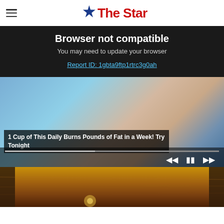The Star
Browser not compatible
You may need to update your browser
Report ID: 1gbta9ftp1rtrc3g0ah
[Figure (screenshot): Video player showing a close-up of a human hand/fingers with a progress bar and media controls (skip back, pause, skip forward). A caption overlay reads: 1 Cup of This Daily Burns Pounds of Fat in a Week! Try Tonight]
[Figure (photo): A reddish-golden dusty outdoor scene, partially visible at the bottom of the page]